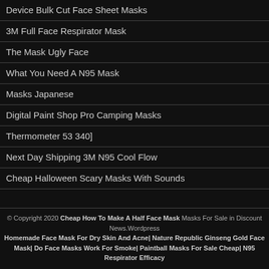Device Bulk Cut Face Sheet Masks
3M Full Face Respirator Mask
The Mask Ugly Face
What You Need A N95 Mask
Masks Japanese
Digital Paint Shop Pro Camping Masks
Thermometer 53 340]
Next Day Shipping 3M N95 Cool Flow
Cheap Halloween Scary Masks With Sounds
© Copyright 2020 Cheap How To Make A Half Face Mask Masks For Sale in Discount News.Wordpress Homemade Face Mask For Dry Skin And Acne| Nature Republic Ginseng Gold Face Mask| Do Face Masks Work For Smoke| Paintball Masks For Sale Cheap| N95 Respirator Efficacy